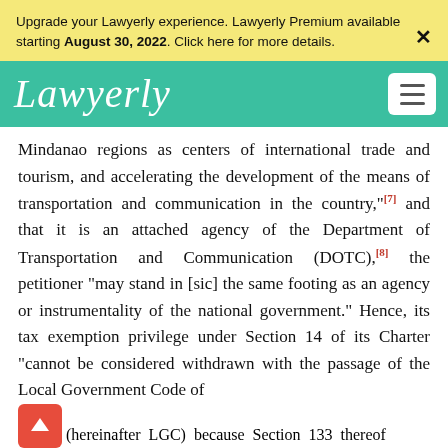Upgrade your Lawyerly experience. Lawyerly Premium available starting August 30, 2022. Click here for more details.
[Figure (logo): Lawyerly logo — cursive white text on teal navigation bar with hamburger menu icon]
Mindanao regions as centers of international trade and tourism, and accelerating the development of the means of transportation and communication in the country,"[7] and that it is an attached agency of the Department of Transportation and Communication (DOTC),[8] the petitioner "may stand in [sic] the same footing as an agency or instrumentality of the national government." Hence, its tax exemption privilege under Section 14 of its Charter "cannot be considered withdrawn with the passage of the Local Government Code of 1991 (hereinafter LGC) because Section 133 thereof